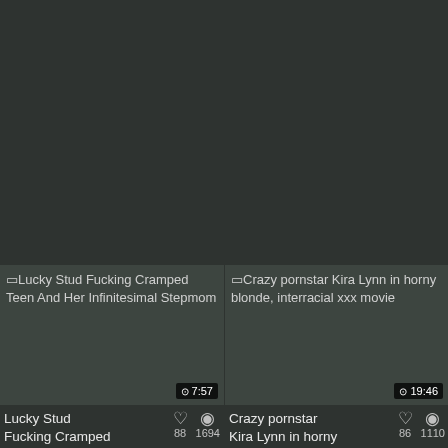[Figure (screenshot): Dark background top area of a video listing webpage]
[Figure (screenshot): Video thumbnail for 'Lucky Stud Fucking Cramped Teen And Her Infinitesimal Stepmom' with duration 7:57]
[Figure (screenshot): Video thumbnail for 'Crazy pornstar Kira Lynn in horny blonde, interracial xxx movie' with duration 19:46]
Lucky Stud Fucking Cramped
88
1694
Crazy pornstar Kira Lynn in horny
86
1110